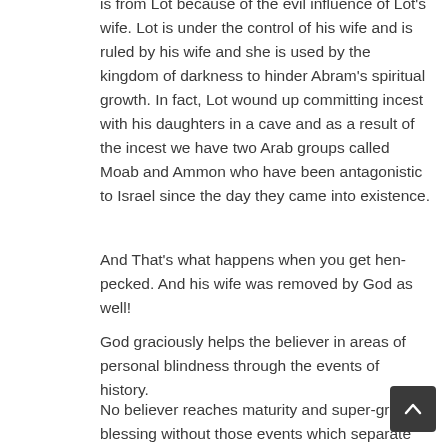is from Lot because of the evil influence of Lot's wife. Lot is under the control of his wife and is ruled by his wife and she is used by the kingdom of darkness to hinder Abram's spiritual growth. In fact, Lot wound up committing incest with his daughters in a cave and as a result of the incest we have two Arab groups called Moab and Ammon who have been antagonistic to Israel since the day they came into existence.
And That's what happens when you get hen-pecked. And his wife was removed by God as well!
God graciously helps the believer in areas of personal blindness through the events of history.
No believer reaches maturity and super-grace blessing without those events which separate us from loved ones and ones that we might consider more important than Bible doctrine, and those who are